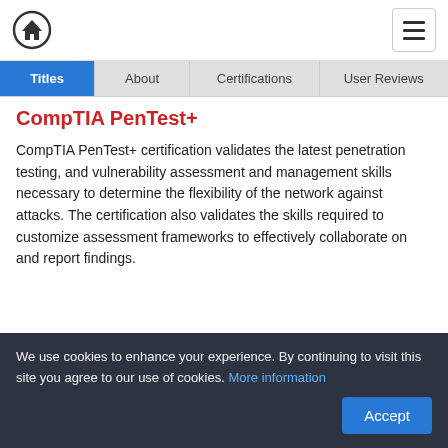Home / Menu
Titles | About | Certifications | User Reviews
CompTIA PenTest+
CompTIA PenTest+ certification validates the latest penetration testing, and vulnerability assessment and management skills necessary to determine the flexibility of the network against attacks. The certification also validates the skills required to customize assessment frameworks to effectively collaborate on and report findings.
We use cookies to enhance your experience. By continuing to visit this site you agree to our use of cookies. More information